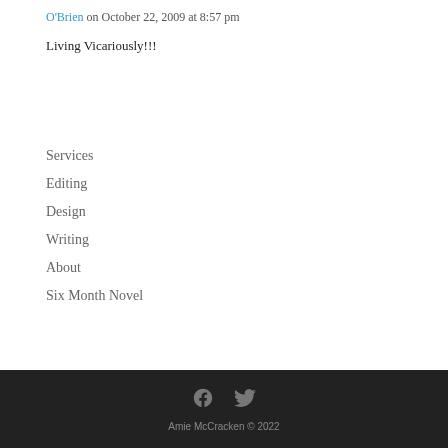O'Brien on October 22, 2009 at 8:57 pm
Living Vicariously!!!
Services
Editing
Design
Writing
About
Six Month Novel
Amie McCracken © 2022